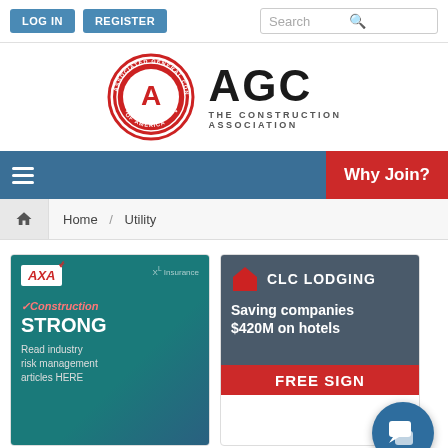LOG IN | REGISTER | Search
[Figure (logo): AGC - The Construction Association logo with circular badge and bold AGC text]
Why Join?
Home / Utility
[Figure (illustration): AXA XL Insurance ad - Construction STRONG - Read industry risk management articles HERE]
[Figure (illustration): CLC Lodging ad - Saving companies $420M on hotels - FREE SIGN UP]